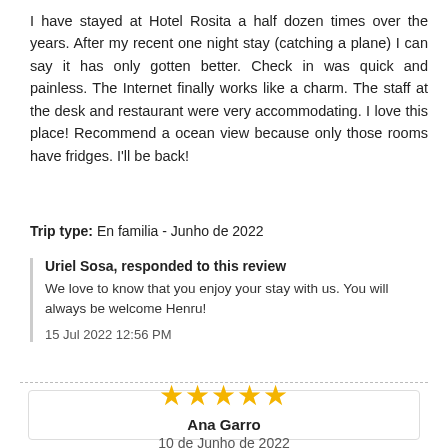I have stayed at Hotel Rosita a half dozen times over the years. After my recent one night stay (catching a plane) I can say it has only gotten better. Check in was quick and painless. The Internet finally works like a charm. The staff at the desk and restaurant were very accommodating. I love this place! Recommend a ocean view because only those rooms have fridges. I'll be back!
Trip type: En familia - Junho de 2022
Uriel Sosa, responded to this review
We love to know that you enjoy your stay with us. You will always be welcome Henru!
15 Jul 2022 12:56 PM
[Figure (other): 5-star rating (5 filled gold stars), reviewer name Ana Garro, date 10 de Junho de 2022, inside a bordered card]